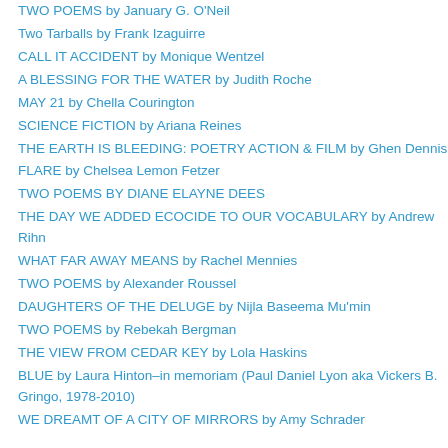TWO POEMS by January G. O'Neil
Two Tarballs by Frank Izaguirre
CALL IT ACCIDENT by Monique Wentzel
A BLESSING FOR THE WATER by Judith Roche
MAY 21 by Chella Courington
SCIENCE FICTION by Ariana Reines
THE EARTH IS BLEEDING: POETRY ACTION & FILM by Ghen Dennis
FLARE by Chelsea Lemon Fetzer
TWO POEMS BY DIANE ELAYNE DEES
THE DAY WE ADDED ECOCIDE TO OUR VOCABULARY by Andrew Rihn
WHAT FAR AWAY MEANS by Rachel Mennies
TWO POEMS by Alexander Roussel
DAUGHTERS OF THE DELUGE by Nijla Baseema Mu'min
TWO POEMS by Rebekah Bergman
THE VIEW FROM CEDAR KEY by Lola Haskins
BLUE by Laura Hinton–in memoriam (Paul Daniel Lyon aka Vickers B. Gringo, 1978-2010)
WE DREAMT OF A CITY OF MIRRORS by Amy Schrader